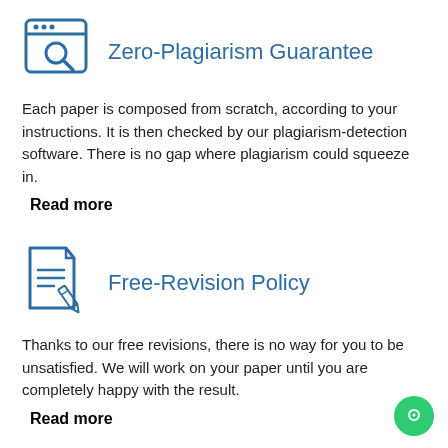[Figure (illustration): Browser/search window icon with magnifying glass, drawn in dark blue outline style]
Zero-Plagiarism Guarantee
Each paper is composed from scratch, according to your instructions. It is then checked by our plagiarism-detection software. There is no gap where plagiarism could squeeze in.
Read more
[Figure (illustration): Document with lines of text and a pencil/edit icon, drawn in dark blue outline style]
Free-Revision Policy
Thanks to our free revisions, there is no way for you to be unsatisfied. We will work on your paper until you are completely happy with the result.
Read more